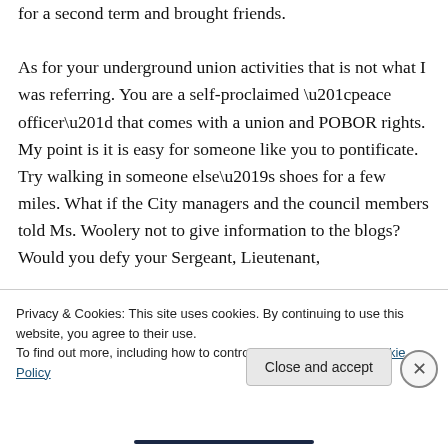for a second term and brought friends.

As for your underground union activities that is not what I was referring. You are a self-proclaimed “peace officer” that comes with a union and POBOR rights. My point is it is easy for someone like you to pontificate. Try walking in someone else’s shoes for a few miles. What if the City managers and the council members told Ms. Woolery not to give information to the blogs? Would you defy your Sergeant, Lieutenant,
Privacy & Cookies: This site uses cookies. By continuing to use this website, you agree to their use.
To find out more, including how to control cookies, see here: Cookie Policy